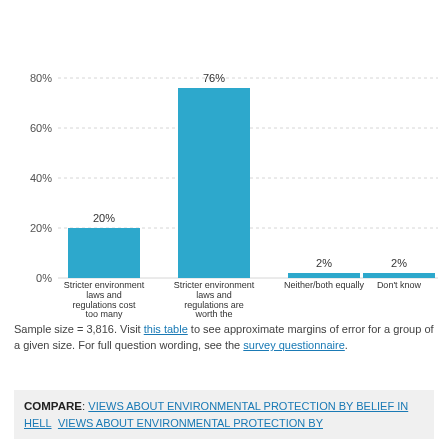[Figure (bar-chart): ]
Sample size = 3,816. Visit this table to see approximate margins of error for a group of a given size. For full question wording, see the survey questionnaire.
COMPARE: VIEWS ABOUT ENVIRONMENTAL PROTECTION BY BELIEF IN HELL   VIEWS ABOUT ENVIRONMENTAL PROTECTION BY